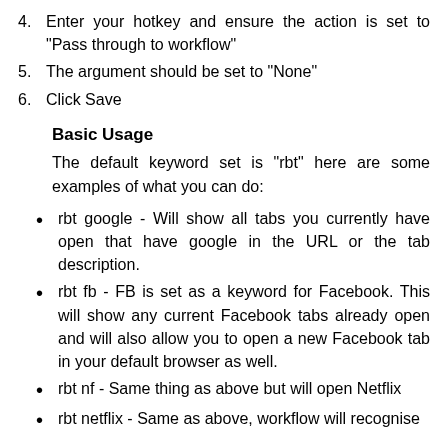4. Enter your hotkey and ensure the action is set to "Pass through to workflow"
5. The argument should be set to "None"
6. Click Save
Basic Usage
The default keyword set is "rbt" here are some examples of what you can do:
rbt google - Will show all tabs you currently have open that have google in the URL or the tab description.
rbt fb - FB is set as a keyword for Facebook. This will show any current Facebook tabs already open and will also allow you to open a new Facebook tab in your default browser as well.
rbt nf - Same thing as above but will open Netflix
rbt netflix - Same as above, workflow will recognise